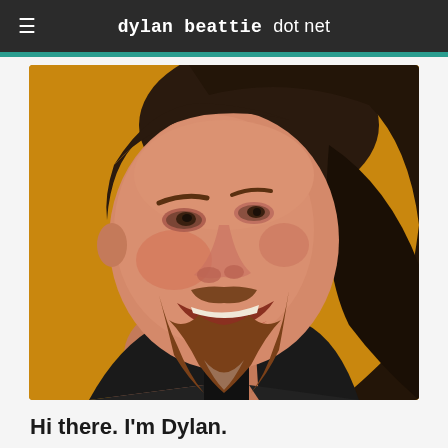dylan beattie dot net
[Figure (photo): A smiling man with long dark hair swept to one side, reddish-brown beard and mustache, wearing a black jacket, photographed against an orange/amber background.]
Hi there. I'm Dylan.